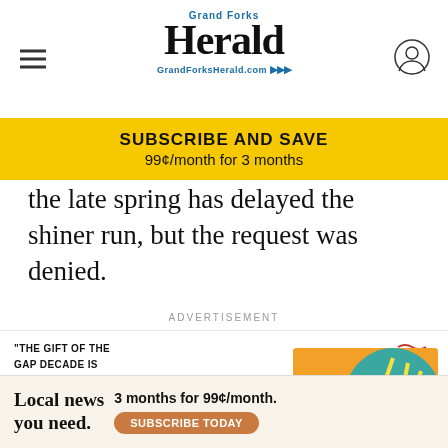Grand Forks Herald — GrandForksHerald.com
SUBSCRIBE AND SAVE
99¢/month for 3 months
the late spring has delayed the shiner run, but the request was denied.
ADVERTISEMENT
[Figure (illustration): IVP book advertisement featuring a quote: "THE GIFT OF THE GAP DECADE IS THAT IN READING IT, WE FIND WE WEREN'T ALONE IN THAT FEELING AND THOSE 'IN BETWEEN' YEARS WERE MORE IMPORTANT THAN WE REALIZED AT THE TIME." with attribution to Lauren Casper, Author of 'Loving Well in a Broken World', the IVP logo, and a book cover for 'The Gap Decade']
Local news you need.  3 months for 99¢/month. SUBSCRIBE TODAY